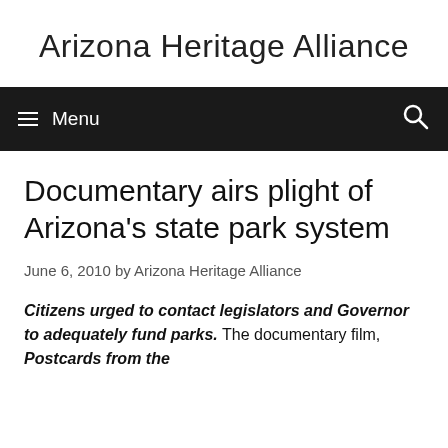Arizona Heritage Alliance
≡ Menu | Search
Documentary airs plight of Arizona's state park system
June 6, 2010 by Arizona Heritage Alliance
Citizens urged to contact legislators and Governor to adequately fund parks. The documentary film, Postcards from the